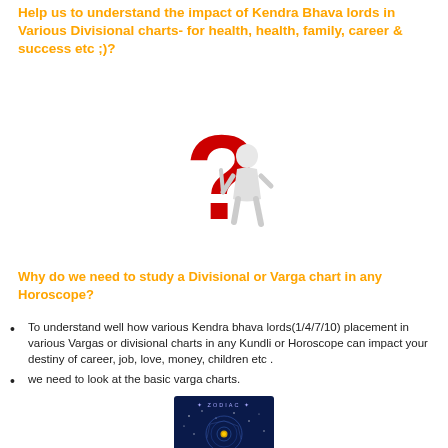Help us to understand the impact of Kendra Bhava lords in Various Divisional charts- for health, health, family, career & success etc ;)?
[Figure (illustration): A white 3D figurine person standing next to a large red question mark, thinking pose]
Why do we need to study a Divisional or Varga chart in any Horoscope?
To understand well how various Kendra bhava lords(1/4/7/10) placement in various Vargas or divisional charts in any Kundli or Horoscope can impact your destiny of career, job, love, money, children etc .
we need to look at the basic varga charts.
[Figure (illustration): Dark blue zodiac chart with constellation map and ZODIAC text at top, circular star map with golden center]